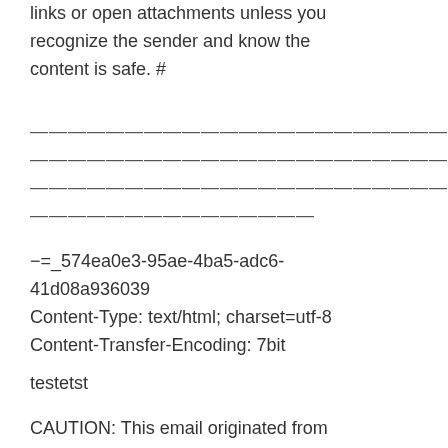links or open attachments unless you recognize the sender and know the content is safe. #
————————————————————————————————————————————————————————————————
−=_574ea0e3-95ae-4ba5-adc6-41d08a936039
Content-Type: text/html; charset=utf-8
Content-Transfer-Encoding: 7bit
testetst
CAUTION: This email originated from